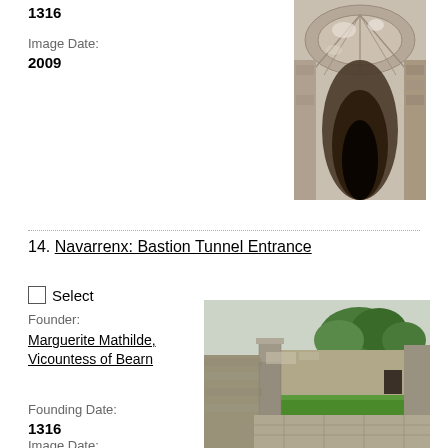1316
Image Date:
2009
[Figure (photo): Interior view of a stone tunnel or vault with Gothic ribbed ceiling, dark at the far end]
14. Navarrenx: Bastion Tunnel Entrance
Select
Founder:
Marguerite Mathilde, Vicountess of Bearn
Founding Date:
1316
Image Date:
[Figure (photo): Exterior view of a stone bastion tunnel entrance with green lawn inside fortification walls and trees in background]